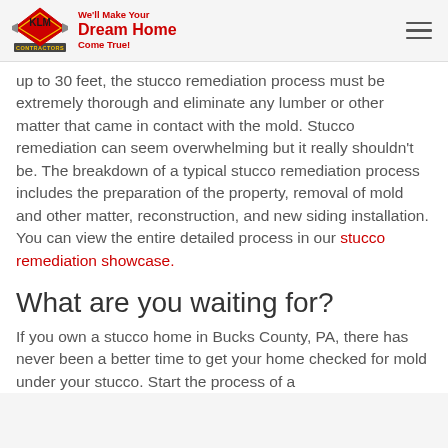KLM Contractors — We'll Make Your Dream Home Come True!
up to 30 feet, the stucco remediation process must be extremely thorough and eliminate any lumber or other matter that came in contact with the mold. Stucco remediation can seem overwhelming but it really shouldn't be. The breakdown of a typical stucco remediation process includes the preparation of the property, removal of mold and other matter, reconstruction, and new siding installation. You can view the entire detailed process in our stucco remediation showcase.
What are you waiting for?
If you own a stucco home in Bucks County, PA, there has never been a better time to get your home checked for mold under your stucco. Start the process of a